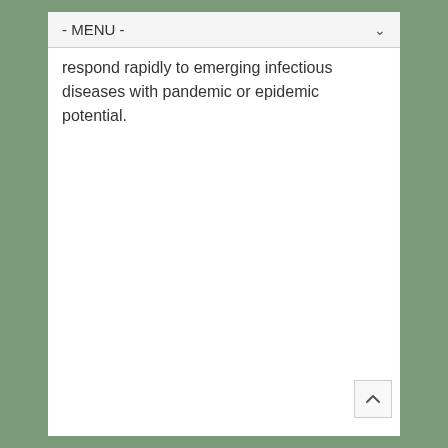- MENU -
respond rapidly to emerging infectious diseases with pandemic or epidemic potential.